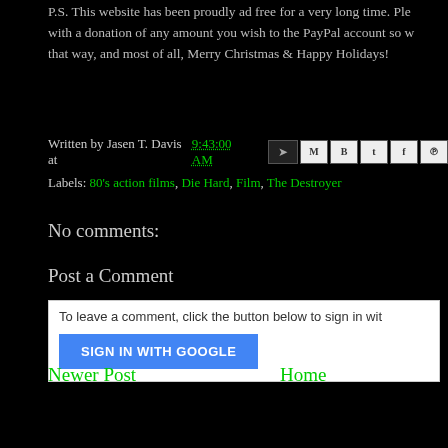P.S. This website has been proudly ad free for a very long time. Ple... with a donation of any amount you wish to the PayPal account so w... that way, and most of all, Merry Christmas & Happy Holidays!
Written by Jasen T. Davis at 9:43:00 AM
Labels: 80's action films, Die Hard, Film, The Destroyer
No comments:
Post a Comment
To leave a comment, click the button below to sign in wit...
SIGN IN WITH GOOGLE
Newer Post
Home